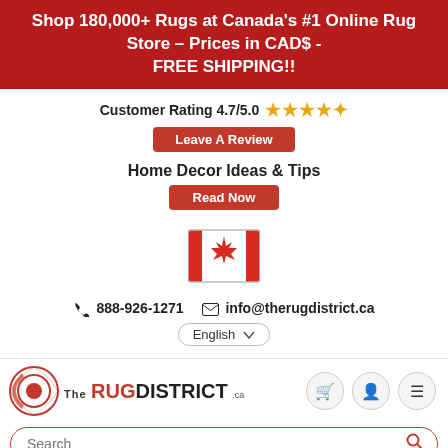Shop 180,000+ Rugs at Canada's #1 Online Rug Store – Prices in CAD$ - FREE SHIPPING!!
Customer Rating 4.7/5.0 ★★★★½
Leave A Review
Home Decor Ideas & Tips
Read Now
[Figure (illustration): Canadian flag icon]
📞 888-926-1271  ✉ info@therugdistrict.ca
English ▾
[Figure (logo): The Rug District logo with stylized rug roll icon]
Search
Home / DuraRug EZC751H
DuraRug EZC751H